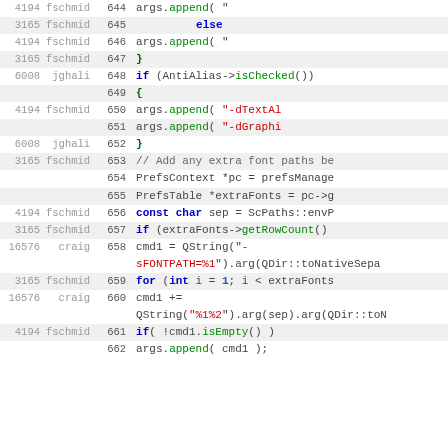[Figure (screenshot): Source code viewer showing lines 644-662 with revision numbers, usernames, line numbers, and syntax-highlighted C++ code.]